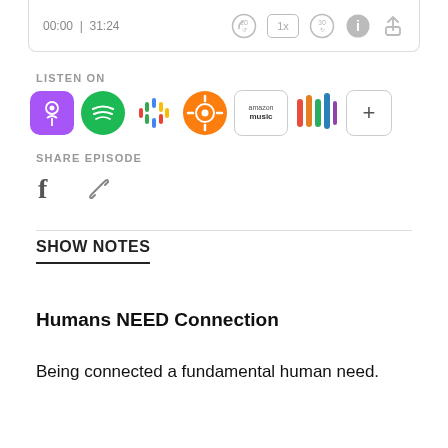[Figure (screenshot): Podcast player bar showing time 00:00 | 31:24 with playback controls: rewind 10s, 1x speed, skip 30s, info and share icons]
LISTEN ON
[Figure (infographic): Row of podcast platform icons: Apple Podcasts (purple), Spotify (green), Google Podcasts (colorful dots), Overcast (orange), Amazon Music, iHeartRadio, and a + button]
SHARE EPISODE
[Figure (infographic): Share icons: Facebook (f) and link/chain icon]
SHOW NOTES
Humans NEED Connection
Being connected a fundamental human need.